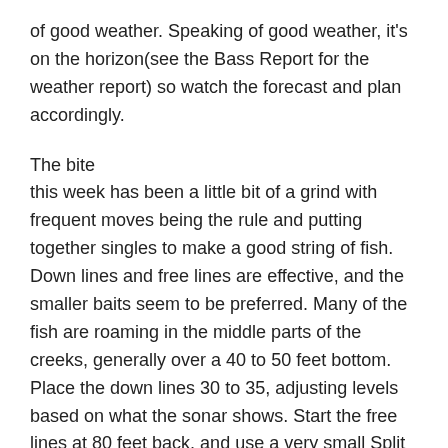of good weather. Speaking of good weather, it's on the horizon(see the Bass Report for the weather report) so watch the forecast and plan accordingly.
The bite this week has been a little bit of a grind with frequent moves being the rule and putting together singles to make a good string of fish. Down lines and free lines are effective, and the smaller baits seem to be preferred. Many of the fish are roaming in the middle parts of the creeks, generally over a 40 to 50 feet bottom. Place the down lines 30 to 35, adjusting levels based on what the sonar shows. Start the free lines at 80 feet back, and use a very small Split with the wind makes speed control and issue. With the fish being so scattered do not be concerned if you are not seeing big groups of fish. Finding the good bait concentrations is a big part of finding the fish, and even if you do not mark lots of fish, deploy the spread when you see the bait and let the fish come